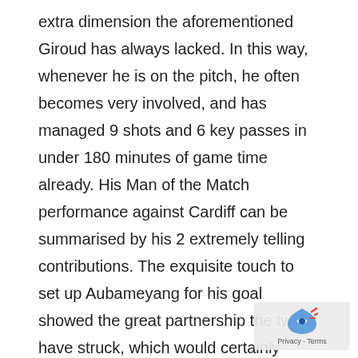extra dimension the aforementioned Giroud has always lacked. In this way, whenever he is on the pitch, he often becomes very involved, and has managed 9 shots and 6 key passes in under 180 minutes of game time already. His Man of the Match performance against Cardiff can be summarised by his 2 extremely telling contributions. The exquisite touch to set up Aubameyang for his goal showed the great partnership the two have struck, which would certainly result in many goals and assists for the Frenchman. The way he was able to hold off the Cardiff defender, receive the strong pass from Torreira, and power home an unstoppable strike in the 80th minute typified the tenacity he showed all game. That goal had an xG of just 0.06 to anyone doubting just how hard of a chance it was to convert. As he played 90 minutes, and appeared